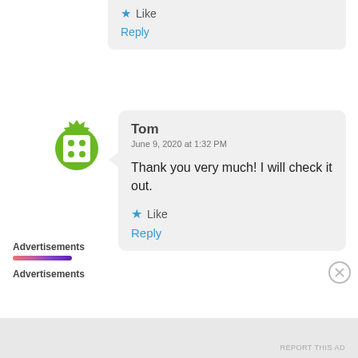Like
Reply
[Figure (illustration): Green spiky circular avatar icon with white dice/dots pattern in the center]
Tom
June 9, 2020 at 1:32 PM

Thank you very much! I will check it out.

Like
Reply
Advertisements
Advertisements